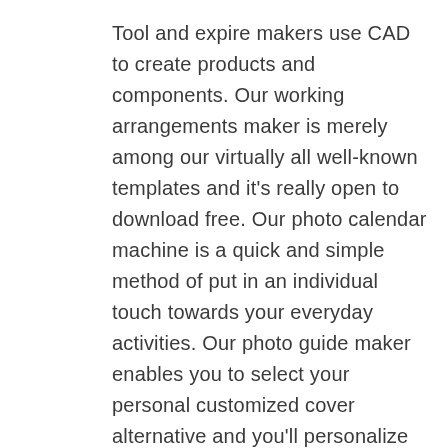Tool and expire makers use CAD to create products and components. Our working arrangements maker is merely among our virtually all well-known templates and it's really open to download free. Our photo calendar machine is a quick and simple method of put in an individual touch towards your everyday activities. Our photo guide maker enables you to select your personal customized cover alternative and you'll personalize each site with many imaginative photo plans and text to see your tale with photographs. The calendar machine and calendar photos might take one minute to load.